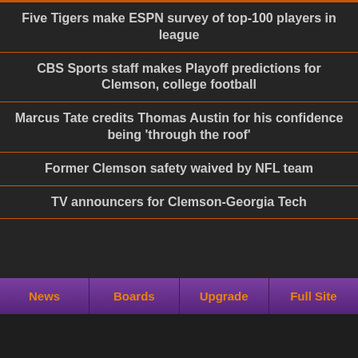Five Tigers make ESPN survey of top-100 players in league
CBS Sports staff makes Playoff predictions for Clemson, college football
Marcus Tate credits Thomas Austin for his confidence being 'through the roof'
Former Clemson safety waived by NFL team
TV announcers for Clemson-Georgia Tech
News | Boards | Upgrade | Full Site